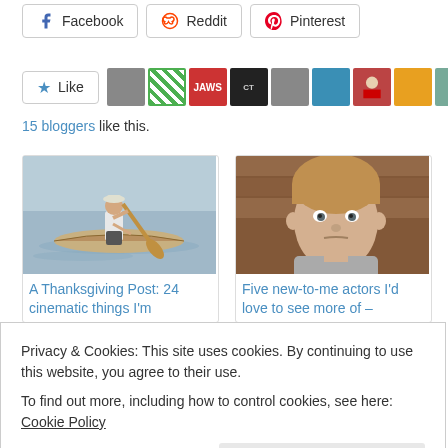Facebook  Reddit  Pinterest (share buttons)
[Figure (infographic): Like button and row of blogger avatar thumbnails]
15 bloggers like this.
[Figure (photo): Man paddling a canoe on water - related post thumbnail]
A Thanksgiving Post: 24 cinematic things I'm thankful for…
[Figure (photo): Young boy looking serious, from a film - related post thumbnail]
Five new-to-me actors I'd love to see more of –
Privacy & Cookies: This site uses cookies. By continuing to use this website, you agree to their use.
To find out more, including how to control cookies, see here: Cookie Policy
Close and accept
Five new-to-me actors I'd